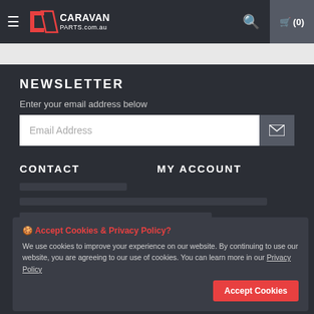CARAVAN PARTS.com.au — Navigation header with hamburger menu, logo, search icon, and cart (0)
NEWSLETTER
Enter your email address below
Email Address [input field with email submit button]
CONTACT
MY ACCOUNT
🍪 Accept Cookies & Privacy Policy?
We use cookies to improve your experience on our website. By continuing to use our website, you are agreeing to our use of cookies. You can learn more in our Privacy Policy
Accept Cookies [button]
Price Beat Guarantee